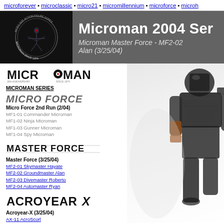microforever • microclassic • micro21 • micromillennium • microforce • microh
[Figure (other): Microman banner with circular logo badge on black background and gray text panel]
Microman 2004 Ser
Microman Master Force - MF2-02 Alan (3/25/04)
[Figure (logo): MICROMAN 30th anniversary logo]
MICROMAN SERIES
MICRO FORCE
Micro Force 2nd Run (2/04)
MF1-01 Commander Microman
MF1-02 Ninja Microman
MF1-03 Gunner Microman
MF1-04 Spy Microman
[Figure (logo): MASTER FORCE logo]
Master Force (3/25/04)
MF2-01 Skymaster Hayate
MF2-02 Groundmaster Alan
MF2-03 Divemaster Roberto
MF2-04 Automaster Ryan
[Figure (logo): ACROYEAR X logo]
Acroyear-X (3/25/04)
AX-11 AcroScorl
AX-12 AcroCleve
AX-13 AcroVoltech
AX-14 AcroBiom
[Figure (photo): Microman action figure photo on right side, dark metallic robot/armor figure]